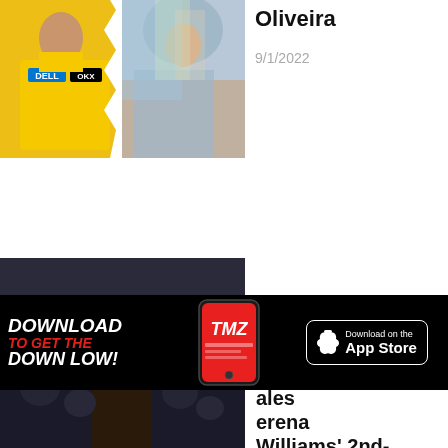[Figure (photo): Split image showing a person in yellow McLaren racing jacket with Dell and OKX logos on left, and a woman with long wavy hair wearing an iridescent outfit on right, with a white zigzag split between them]
Oliveira
9/1/2022
[Figure (photo): Dark crowd scene with person raising hands, partially obscured]
[Figure (infographic): TMZ app download advertisement banner: DOWNLOAD TO GET THE DOWN LOW! with TMZ app phone mockup and Download on the App Store button]
ales erena Williams' 2nd-Round Wi...